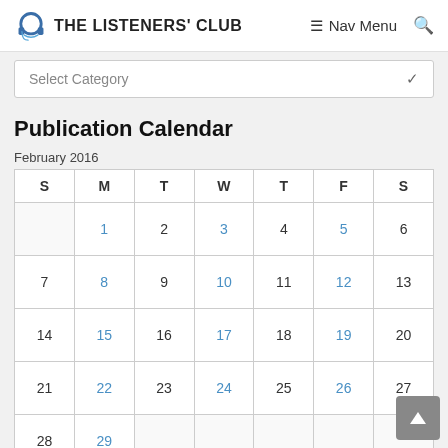THE LISTENERS' CLUB  Nav Menu
Select Category
Publication Calendar
February 2016
| S | M | T | W | T | F | S |
| --- | --- | --- | --- | --- | --- | --- |
|  | 1 | 2 | 3 | 4 | 5 | 6 |
| 7 | 8 | 9 | 10 | 11 | 12 | 13 |
| 14 | 15 | 16 | 17 | 18 | 19 | 20 |
| 21 | 22 | 23 | 24 | 25 | 26 | 27 |
| 28 | 29 |  |  |  |  |  |